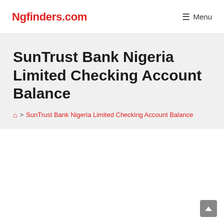Ngfinders.com | Menu
SunTrust Bank Nigeria Limited Checking Account Balance
Home > SunTrust Bank Nigeria Limited Checking Account Balance